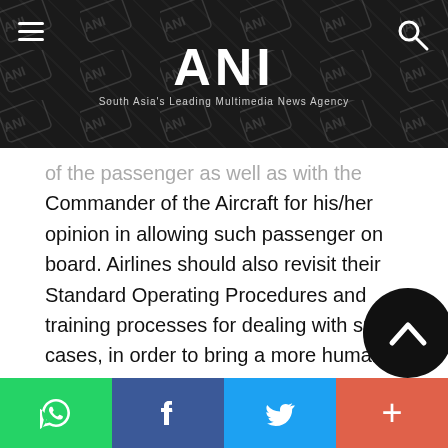ANI — South Asia's Leading Multimedia News Agency
of the passenger as well as with the Commander of the Aircraft for his/her opinion in allowing such passenger on board. Airlines should also revisit their Standard Operating Procedures and training processes for dealing with such cases, in order to bring a more humane touch, the statement read.
On May 16, DGCA had issued a show-cause notice to domestic carrier IndiGo for the incident on May 7 in which a